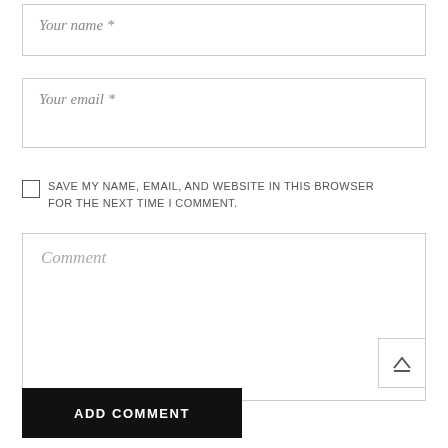Your name *
Your email *
SAVE MY NAME, EMAIL, AND WEBSITE IN THIS BROWSER FOR THE NEXT TIME I COMMENT.
Comment
ADD COMMENT